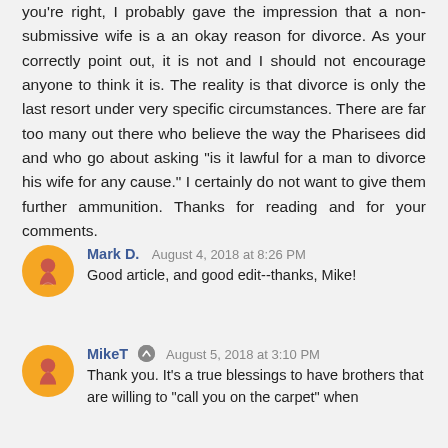you're right, I probably gave the impression that a non-submissive wife is a an okay reason for divorce. As your correctly point out, it is not and I should not encourage anyone to think it is. The reality is that divorce is only the last resort under very specific circumstances. There are far too many out there who believe the way the Pharisees did and who go about asking "is it lawful for a man to divorce his wife for any cause." I certainly do not want to give them further ammunition. Thanks for reading and for your comments.
Mark D. August 4, 2018 at 8:26 PM
Good article, and good edit--thanks, Mike!
MikeT August 5, 2018 at 3:10 PM
Thank you. It's a true blessings to have brothers that are willing to "call you on the carpet" when